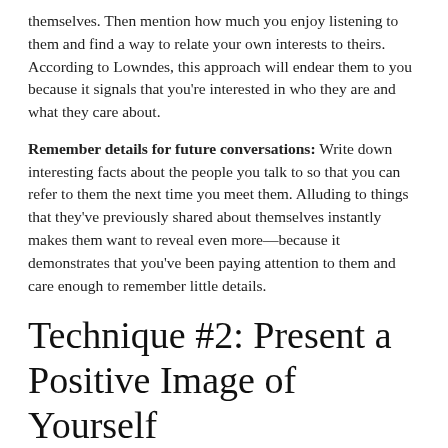themselves. Then mention how much you enjoy listening to them and find a way to relate your own interests to theirs. According to Lowndes, this approach will endear them to you because it signals that you're interested in who they are and what they care about.
Remember details for future conversations: Write down interesting facts about the people you talk to so that you can refer to them the next time you meet them. Alluding to things that they've previously shared about themselves instantly makes them want to reveal even more—because it demonstrates that you've been paying attention to them and care enough to remember little details.
Technique #2: Present a Positive Image of Yourself
Be conscious of revealing your flaws. Many people